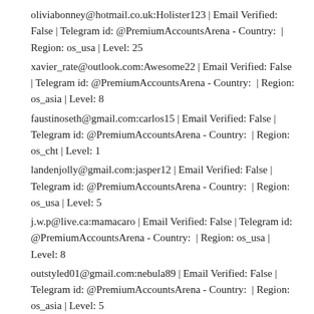oliviabonney@hotmail.co.uk:Holister123 | Email Verified: False | Telegram id: @PremiumAccountsArena - Country:  | Region: os_usa | Level: 25
xavier_rate@outlook.com:Awesome22 | Email Verified: False | Telegram id: @PremiumAccountsArena - Country:  | Region: os_asia | Level: 8
faustinoseth@gmail.com:carlos15 | Email Verified: False | Telegram id: @PremiumAccountsArena - Country:  | Region: os_cht | Level: 1
landenjolly@gmail.com:jasper12 | Email Verified: False | Telegram id: @PremiumAccountsArena - Country:  | Region: os_usa | Level: 5
j.w.p@live.ca:mamacaro | Email Verified: False | Telegram id: @PremiumAccountsArena - Country:  | Region: os_usa | Level: 8
outstyled01@gmail.com:nebula89 | Email Verified: False | Telegram id: @PremiumAccountsArena - Country:  | Region: os_asia | Level: 5
kauskz@gmail.com:ashwin0303 | Email Verified: False | Telegram id: @PremiumAccountsArena - Country:  | Region: os_asia | Level: 5
tomasmenaramirez@gmail.com:gamersuperpro64 | Email Verified: False | Telegram id: @PremiumAccountsArena - Country:  | Region: os_usa | Level: 31